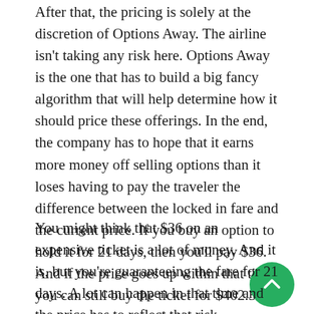After that, the pricing is solely at the discretion of Options Away. The airline isn't taking any risk here. Options Away is the one that has to build a big fancy algorithm that will help determine how it should price these offerings. In the end, the company has to hope that it earns more money off selling options than it loses having to pay the traveler the difference between the locked in fare and the current price. If you buy an option to hold it for 21 days, then you'll pay $36. And if the price goes up within that time, you can still buy the ticket for $402.38.
You might think that $36 on an expensive ticket is a lot of money. And it is, but you're guaranteeing the fare for 21 days. A lot can happen in that time and the price has to reflect that risk accordingly. That's why I tend to think